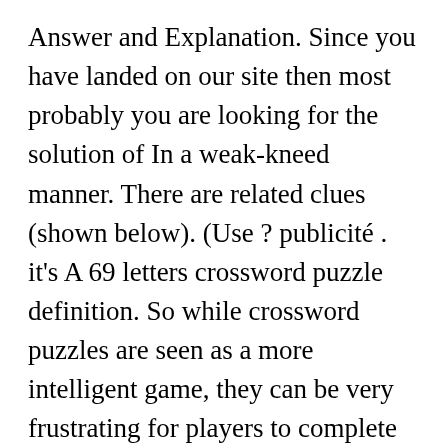Answer and Explanation. Since you have landed on our site then most probably you are looking for the solution of In a weak-kneed manner. There are related clues (shown below). (Use ? publicité . it's A 69 letters crossword puzzle definition. So while crossword puzzles are seen as a more intelligent game, they can be very frustrating for players to complete and even experienced crossword players need some help occasionally. In a weak-kneed manner crossword clue. If you already Continue reading Most weak crossword clue → Posted in Jumble Clues | Tagged Most weak crossword clue. publicité. Latest Clues. This crossword clue was last seen on December 8